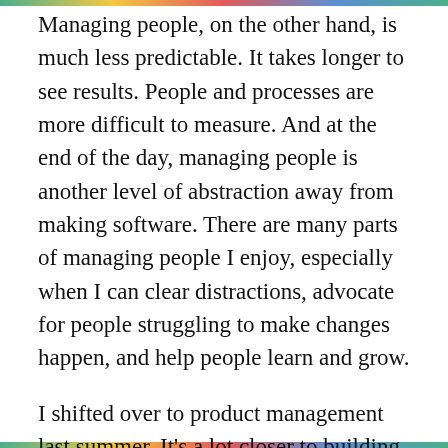Managing people, on the other hand, is much less predictable. It takes longer to see results. People and processes are more difficult to measure. And at the end of the day, managing people is another level of abstraction away from making software. There are many parts of managing people I enjoy, especially when I can clear distractions, advocate for people struggling to make changes happen, and help people learn and grow.
I shifted over to product management last summer. It's a lot closer to building software, and I can apply my experience of system and design to bridge product thinking and engineering. I feel far more productive and my confidence has improved.